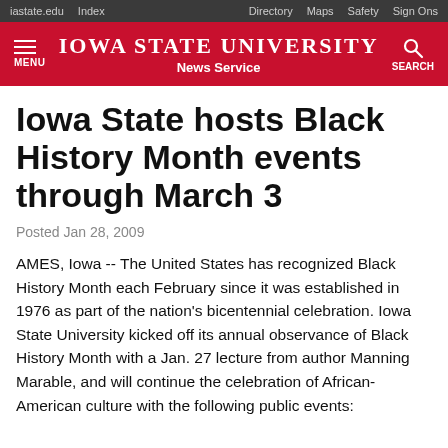iastate.edu  Index  Directory  Maps  Safety  Sign Ons
[Figure (logo): Iowa State University News Service logo on red background with menu icon and search icon]
Iowa State hosts Black History Month events through March 3
Posted Jan 28, 2009
AMES, Iowa -- The United States has recognized Black History Month each February since it was established in 1976 as part of the nation's bicentennial celebration. Iowa State University kicked off its annual observance of Black History Month with a Jan. 27 lecture from author Manning Marable, and will continue the celebration of African-American culture with the following public events: